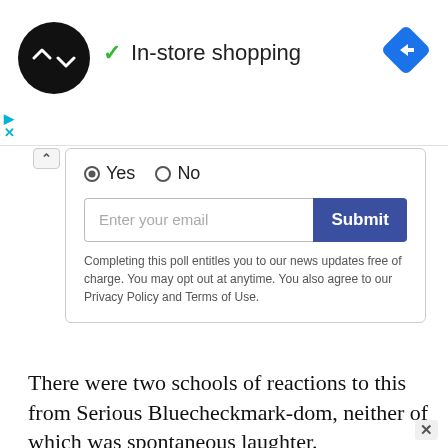[Figure (screenshot): Ad banner with circular black logo containing double-arrow icon, green checkmark, text 'In-store shopping', and blue diamond navigation icon on right. Small cyan play/close controls bottom left.]
Yes  No
Enter your email  Submit
Completing this poll entitles you to our news updates free of charge. You may opt out at anytime. You also agree to our Privacy Policy and Terms of Use.
There were two schools of reactions to this from Serious Bluecheckmark-dom, neither of which was spontaneous laughter.
The first school is best exemplified by Joe Biden fundraiser/liberal super-tweeter Jon Cooper.